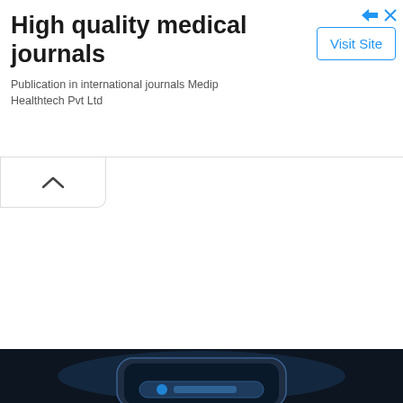[Figure (other): Advertisement banner for Medip Healthtech Pvt Ltd promoting high quality medical journals with a Visit Site button]
High quality medical journals
Publication in international journals Medip Healthtech Pvt Ltd
[Figure (other): Collapse/chevron up button UI element]
[Figure (photo): Dark background photo showing a smartphone screen at the bottom of the page]